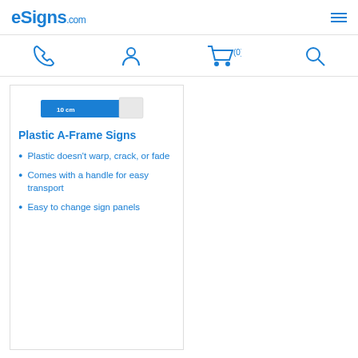eSigns.com
[Figure (screenshot): Navigation icons: phone, user account, shopping cart (0), and search]
[Figure (photo): Partial image of a plastic A-Frame sign product]
Plastic A-Frame Signs
Plastic doesn't warp, crack, or fade
Comes with a handle for easy transport
Easy to change sign panels